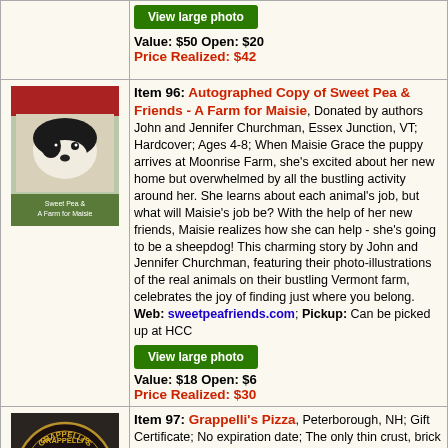[Figure (other): Green 'View large photo' button]
Value: $50 Open: $20
Price Realized: $42
[Figure (photo): Book cover for 'A Farm for Maisie' showing a black and white puppy]
Item 96: Autographed Copy of Sweet Pea & Friends - A Farm for Maisie, Donated by authors John and Jennifer Churchman, Essex Junction, VT; Hardcover; Ages 4-8; When Maisie Grace the puppy arrives at Moonrise Farm, she's excited about her new home but overwhelmed by all the bustling activity around her. She learns about each animal's job, but what will Maisie's job be? With the help of her new friends, Maisie realizes how she can help - she's going to be a sheepdog! This charming story by John and Jennifer Churchman, featuring their photo-illustrations of the real animals on their bustling Vermont farm, celebrates the joy of finding just where you belong. Web: sweetpeafriends.com; Pickup: Can be picked up at HCC
[Figure (other): Green 'View large photo' button]
Value: $18 Open: $6
Price Realized: $30
[Figure (logo): Grappelli's Brick Oven Pizza circular logo, dark background with gold text]
Item 97: Grappelli's Pizza, Peterborough, NH; Gift Certificate; No expiration date; The only thin crust, brick oven, Italian style pizza in Peterborough, NH; Try their famous monthly specialty pizzas and check out their craft beer cooler; Gluten-free, Dairy-free &